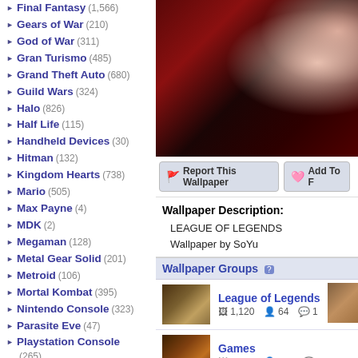Final Fantasy (1,566)
Gears of War (210)
God of War (311)
Gran Turismo (485)
Grand Theft Auto (680)
Guild Wars (324)
Halo (826)
Half Life (115)
Handheld Devices (30)
Hitman (132)
Kingdom Hearts (738)
Mario (505)
Max Payne (4)
MDK (2)
Megaman (128)
Metal Gear Solid (201)
Metroid (106)
Mortal Kombat (395)
Nintendo Console (323)
Parasite Eve (47)
Playstation Console (265)
Pokemon (Link)
Quake (18)
Ragnarok Online (98)
Resident Evil (472)
Sonic (420)
Soul Calibur (258)
Starcraft (142)
Star Wars (284)
[Figure (illustration): Anime-style illustration, League of Legends wallpaper, dark red and purple tones]
Report This Wallpaper | Add To F...
Wallpaper Description:
LEAGUE OF LEGENDS
Wallpaper by SoYu
Wallpaper Groups
League of Legends — 1,120 images, 64 members, 1 comment
Games — 1,614 images, 122 members, 18 comments
Leave a comment...